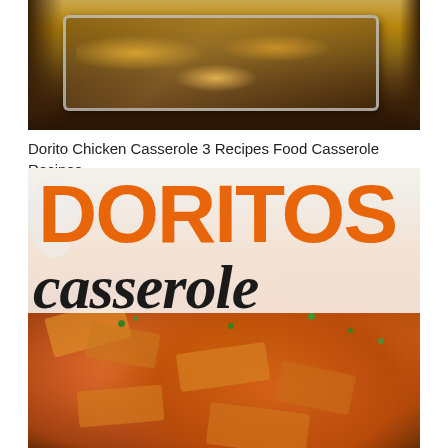[Figure (photo): Top-down view of a Dorito Chicken Casserole in a glass baking dish on a dark wooden surface, showing cheesy orange topping]
Dorito Chicken Casserole 3 Recipes Food Casserole Recipes
[Figure (photo): Close-up photo of Doritos Casserole in a white baking dish with melted orange cheese sauce and crushed Doritos chips topped with fresh cilantro, overlaid with large text reading 'DORITOS casserole']